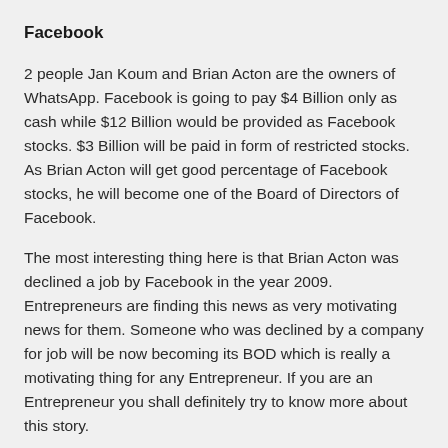Facebook
2 people Jan Koum and Brian Acton are the owners of WhatsApp. Facebook is going to pay $4 Billion only as cash while $12 Billion would be provided as Facebook stocks. $3 Billion will be paid in form of restricted stocks. As Brian Acton will get good percentage of Facebook stocks, he will become one of the Board of Directors of Facebook.
The most interesting thing here is that Brian Acton was declined a job by Facebook in the year 2009. Entrepreneurs are finding this news as very motivating news for them. Someone who was declined by a company for job will be now becoming its BOD which is really a motivating thing for any Entrepreneur. If you are an Entrepreneur you shall definitely try to know more about this story.